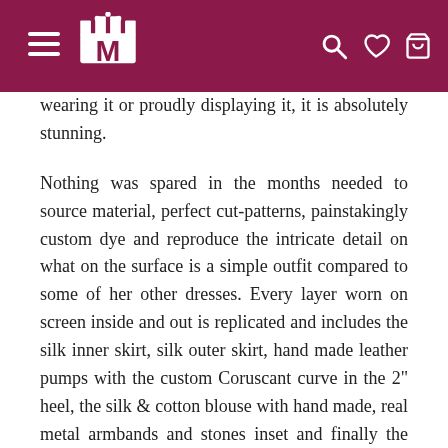Navigation header with menu, logo, search, wishlist, and cart icons
wearing it or proudly displaying it, it is absolutely stunning.

Nothing was spared in the months needed to source material, perfect cut-patterns, painstakingly custom dye and reproduce the intricate detail on what on the surface is a simple outfit compared to some of her other dresses. Every layer worn on screen inside and out is replicated and includes the silk inner skirt, silk outer skirt, hand made leather pumps with the custom Coruscant curve in the 2" heel, the silk & cotton blouse with hand made, real metal armbands and stones inset and finally the genuine velvet vest with intricate, custom beadwork and embroidery. It takes a full day just to make the design on the front for a single